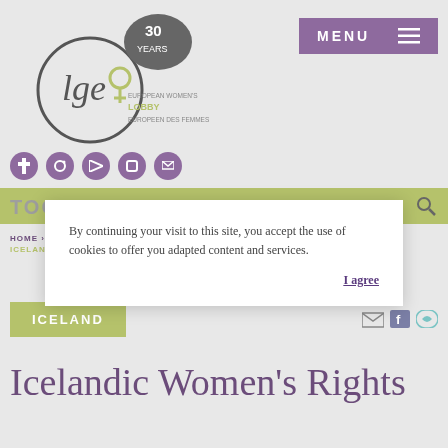[Figure (logo): European Women's Lobby logo with circular text design and '30 YEARS' speech bubble]
MENU ☰
[Figure (other): Five purple circular social media icons]
[Figure (other): Green search bar with magnifying glass icon]
TOGETHER
HOME > MEMBERS > ... > IONS > ICELAND > ICELANDIC WOMEN'S RIGHTS (...)
ICELAND
[Figure (other): Email, Facebook, and phone share icons]
Icelandic Women's Rights
By continuing your visit to this site, you accept the use of cookies to offer you adapted content and services.
I agree